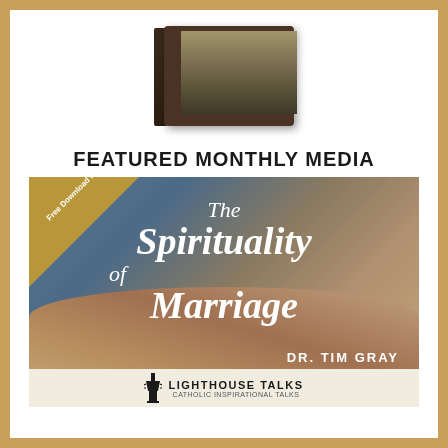[Figure (photo): DVD or media box with dark wood frame and landscape/nature image on screen]
FEATURED MONTHLY MEDIA
[Figure (photo): Book cover for 'The Spirituality of Marriage' by Dr. Tim Gray, published by Lighthouse Talks. Shows a couple's clasped hands with a wedding ring. Features a gold corner banner reading 'Free Download Inside'.]
DR. TIM GRAY
LIGHTHOUSE TALKS